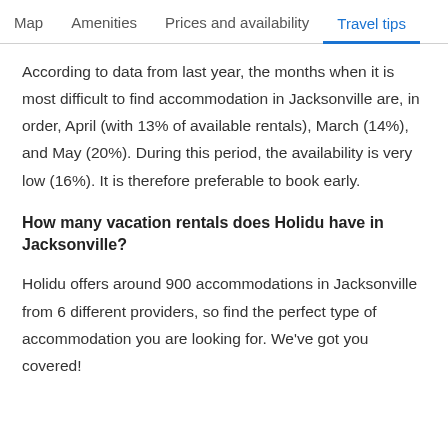Map   Amenities   Prices and availability   Travel tips
According to data from last year, the months when it is most difficult to find accommodation in Jacksonville are, in order, April (with 13% of available rentals), March (14%), and May (20%). During this period, the availability is very low (16%). It is therefore preferable to book early.
How many vacation rentals does Holidu have in Jacksonville?
Holidu offers around 900 accommodations in Jacksonville from 6 different providers, so find the perfect type of accommodation you are looking for. We've got you covered!